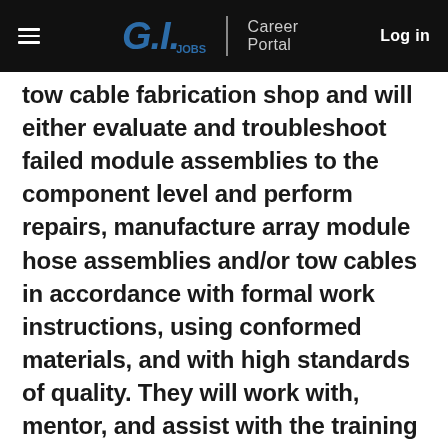G.I. JOBS | Career Portal  Log in
tow cable fabrication shop and will either evaluate and troubleshoot failed module assemblies to the component level and perform repairs, manufacture array module hose assemblies and/or tow cables in accordance with formal work instructions, using conformed materials, and with high standards of quality. They will work with, mentor, and assist with the training of junior technicians. Performs standardized or prescribed assignments, involving a sequence of related operations. Follows